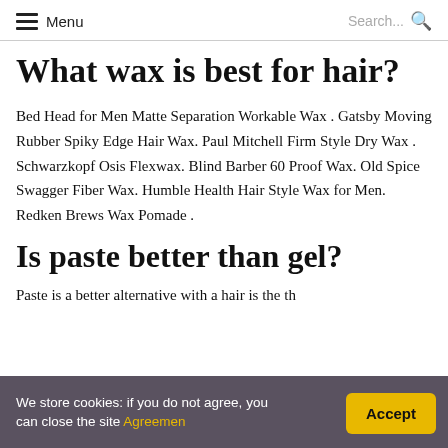Menu | Search...
What wax is best for hair?
Bed Head for Men Matte Separation Workable Wax . Gatsby Moving Rubber Spiky Edge Hair Wax. Paul Mitchell Firm Style Dry Wax . Schwarzkopf Osis Flexwax. Blind Barber 60 Proof Wax. Old Spice Swagger Fiber Wax. Humble Health Hair Style Wax for Men. Redken Brews Wax Pomade .
Is paste better than gel?
Paste is a better alternative...
We store cookies: if you do not agree, you can close the site Agreemen